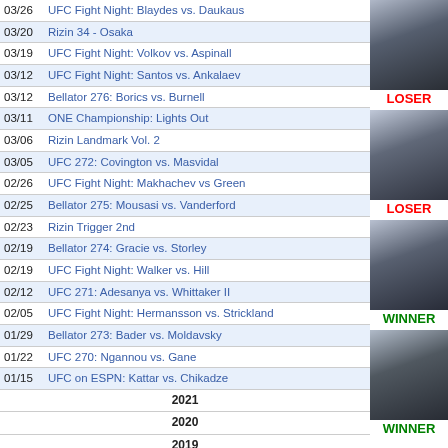| Date | Event |
| --- | --- |
| 03/26 | UFC Fight Night: Blaydes vs. Daukaus |
| 03/20 | Rizin 34 - Osaka |
| 03/19 | UFC Fight Night: Volkov vs. Aspinall |
| 03/12 | UFC Fight Night: Santos vs. Ankalaev |
| 03/12 | Bellator 276: Borics vs. Burnell |
| 03/11 | ONE Championship: Lights Out |
| 03/06 | Rizin Landmark Vol. 2 |
| 03/05 | UFC 272: Covington vs. Masvidal |
| 02/26 | UFC Fight Night: Makhachev vs Green |
| 02/25 | Bellator 275: Mousasi vs. Vanderford |
| 02/23 | Rizin Trigger 2nd |
| 02/19 | Bellator 274: Gracie vs. Storley |
| 02/19 | UFC Fight Night: Walker vs. Hill |
| 02/12 | UFC 271: Adesanya vs. Whittaker II |
| 02/05 | UFC Fight Night: Hermansson vs. Strickland |
| 01/29 | Bellator 273: Bader vs. Moldavsky |
| 01/22 | UFC 270: Ngannou vs. Gane |
| 01/15 | UFC on ESPN: Kattar vs. Chikadze |
|  | 2021 |
|  | 2020 |
|  | 2019 |
|  | 2018 |
|  | 2017 |
|  | 2016 |
|  | 2015 |
|  | 2014 |
[Figure (photo): Fighter photo 1 with LOSER label in red]
[Figure (photo): Fighter photo 2 with LOSER label in red]
[Figure (photo): Fighter photo 3 with WINNER label in green]
[Figure (photo): Fighter photo 4 with WINNER label in green (partial)]